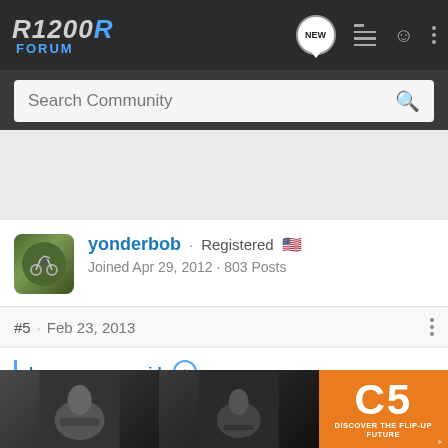R1200R FORUM
Search Community
[Figure (photo): User avatar showing a motorcycle rider, green-tinted photo]
yonderbob · Registered 🇺🇸
Joined Apr 29, 2012 · 803 Posts
#5 · Feb 23, 2013
kangarooman said: ↑
From Western NC. My first bike in 1969 was a used r69us, in the 90's I had a K75 with many other bikes over the years. Currently fourth year w... ...erest in the...
[Figure (photo): Partially visible advertisement showing motorcycle riders and a C5 helmet product ad with orange background. Text: C5 DISCOVER THE FLIP-UP FUTURE]